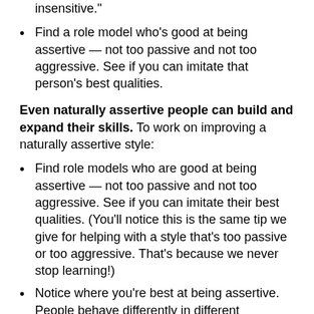insensitive."
Find a role model who's good at being assertive — not too passive and not too aggressive. See if you can imitate that person's best qualities.
Even naturally assertive people can build and expand their skills. To work on improving a naturally assertive style:
Find role models who are good at being assertive — not too passive and not too aggressive. See if you can imitate their best qualities. (You'll notice this is the same tip we give for helping with a style that's too passive or too aggressive. That's because we never stop learning!)
Notice where you're best at being assertive. People behave differently in different situations.